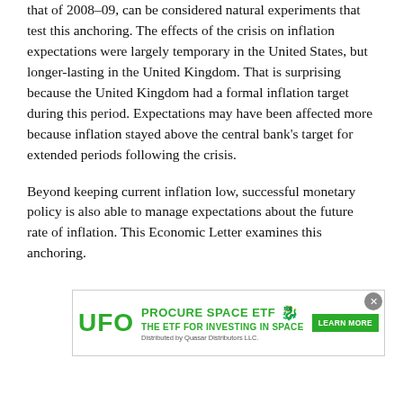that of 2008–09, can be considered natural experiments that test this anchoring. The effects of the crisis on inflation expectations were largely temporary in the United States, but longer-lasting in the United Kingdom. That is surprising because the United Kingdom had a formal inflation target during this period. Expectations may have been affected more because inflation stayed above the central bank's target for extended periods following the crisis.
Beyond keeping current inflation low, successful monetary policy is also able to manage expectations about the future rate of inflation. This Economic Letter examines this anchoring.
[Figure (other): Advertisement overlay for 'Procure Space ETF' (ticker: UFO) — The ETF for Investing in Space, distributed by Quasar Distributors LLC. Green text on white background with a Learn More button. Has a close (×) button.]